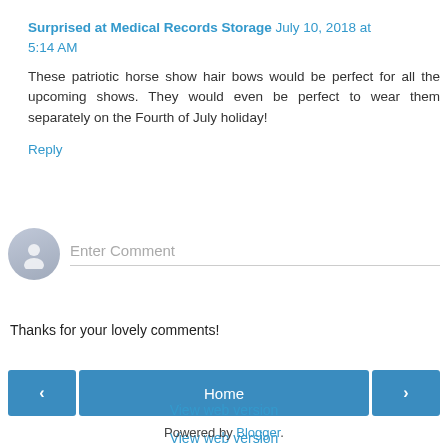Surprised at Medical Records Storage July 10, 2018 at 5:14 AM
These patriotic horse show hair bows would be perfect for all the upcoming shows. They would even be perfect to wear them separately on the Fourth of July holiday!
Reply
[Figure (other): Comment input field with avatar icon and placeholder text 'Enter Comment']
Thanks for your lovely comments!
[Figure (other): Navigation bar with left arrow button, Home button, and right arrow button]
View web version
Powered by Blogger.